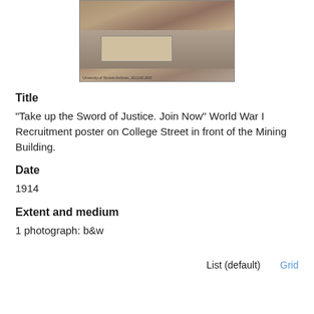[Figure (photo): Black and white historical photograph showing a World War I recruitment poster on College Street in front of the Mining Building, University of Toronto. Caption reads: University of Toronto Archives, 2013.60.2MS]
Title
"Take up the Sword of Justice. Join Now" World War I Recruitment poster on College Street in front of the Mining Building.
Date
1914
Extent and medium
1 photograph: b&w
List (default)   Grid